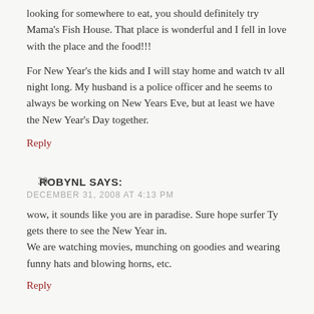looking for somewhere to eat, you should definitely try Mama's Fish House. That place is wonderful and I fell in love with the place and the food!!!
For New Year's the kids and I will stay home and watch tv all night long. My husband is a police officer and he seems to always be working on New Years Eve, but at least we have the New Year's Day together.
Reply
30. ROBYNL SAYS:
DECEMBER 31, 2008 AT 4:13 PM
wow, it sounds like you are in paradise. Sure hope surfer Ty gets there to see the New Year in.
We are watching movies, munching on goodies and wearing funny hats and blowing horns, etc.
Reply